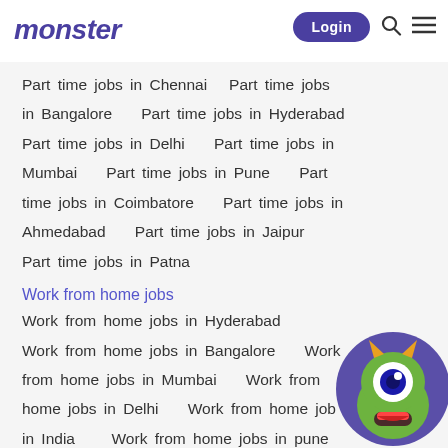monster | Login
Part time jobs in Chennai  Part time jobs in Bangalore  Part time jobs in Hyderabad  Part time jobs in Delhi  Part time jobs in Mumbai  Part time jobs in Pune  Part time jobs in Coimbatore  Part time jobs in Ahmedabad  Part time jobs in Jaipur  Part time jobs in Patna
Work from home jobs
Work from home jobs in Hyderabad  Work from home jobs in Bangalore  Work from home jobs in Mumbai  Work from home jobs in Delhi  Work from home jobs in India  Work from home jobs in pune  Work from home jobs in Chennai  Work